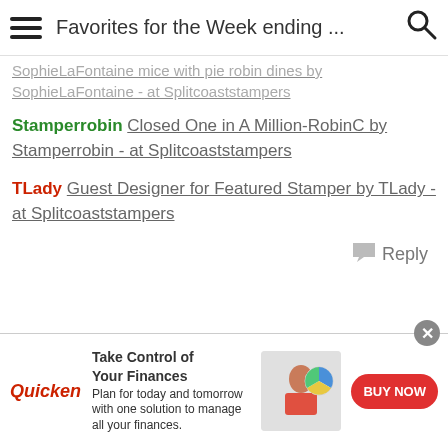Favorites for the Week ending ...
SophieLaFontaine mice with pie robin dines by SophieLaFontaine - at Splitcoaststampers
Stamperrobin Closed One in A Million-RobinC by Stamperrobin - at Splitcoaststampers
TLady Guest Designer for Featured Stamper by TLady - at Splitcoaststampers
Reply
01-12-2020 06:15 AM by JRHolbrook #18
Sabrina, thank you so much for the happy mail today! Yay! Polly and Linda, thank you for adding my goofy "Rats! Hang in there!" card to your lists. I really appreciate it and you
[Figure (infographic): Quicken advertisement banner: Take Control of Your Finances. Plan for today and tomorrow with one solution to manage all your finances. BUY NOW button. Shows woman at desk with pie chart graphic.]